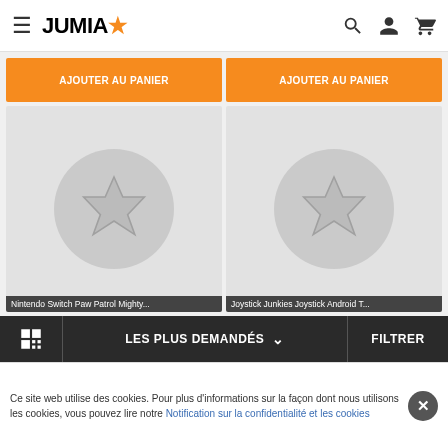JUMIA
[Figure (screenshot): Two product cards with 'AJOUTER AU PANIER' orange buttons and star placeholder images. Left card: Nintendo Switch Paw Patrol Mighty. Right card: Joystick Junkies Joystick Android T.]
Nintendo Switch Paw Patrol Mighty
Joystick Junkies Joystick Android T
LES PLUS DEMANDÉS  FILTRER
Ce site web utilise des cookies. Pour plus d'informations sur la façon dont nous utilisons les cookies, vous pouvez lire notre Notification sur la confidentialité et les cookies